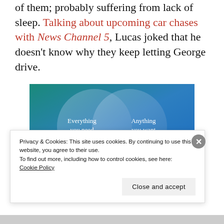of them; probably suffering from lack of sleep. Talking about upcoming car chases with News Channel 5, Lucas joked that he doesn't know why they keep letting George drive.
[Figure (illustration): Venn diagram style image with teal/blue gradient background showing two overlapping circles. Left circle text: 'Everything you need'. Right circle text: 'Anything you want'.]
Privacy & Cookies: This site uses cookies. By continuing to use this website, you agree to their use.
To find out more, including how to control cookies, see here:
Cookie Policy
Close and accept